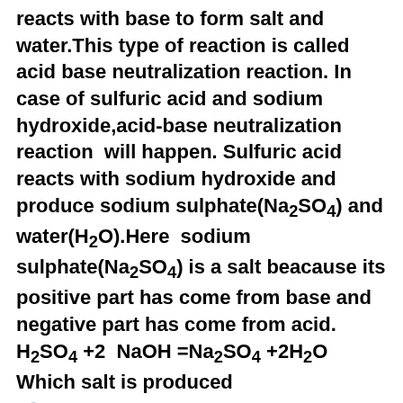reacts with base to form salt and water.This type of reaction is called acid base neutralization reaction. In case of sulfuric acid and sodium hydroxide,acid-base neutralization reaction will happen. Sulfuric acid reacts with sodium hydroxide and produce sodium sulphate(Na2SO4) and water(H2O).Here sodium sulphate(Na2SO4) is a salt beacause its positive part has come from base and negative part has come from acid. H2SO4 +2 NaOH =Na2SO4 +2H2O Which salt is produced
🔗 Hydrochloric Acid and Sodium Hydroxide||Balanced Equation for Hydrochloric acid and Sodium Hydroxide
Hydrochloric Acid and Sodium Hydroxide
Hello,you are in right place to know about the